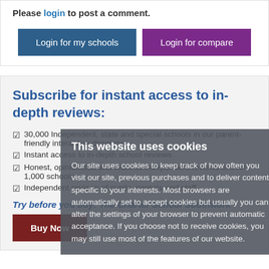Please login to post a comment.
Login for my schools
Login for compare
Subscribe for instant access to in-depth reviews:
30,000 Independent, state and special schools in our parent-friendly interactive directory
Instant access to in-depth school reviews
Honest, opinionated and fearless independent reviews of over 1,000 schools
Independent reviews of pupils, parents and staff
Try before you buy: The Charter School Southwark
Buy Now
This website uses cookies
Our site uses cookies to keep track of how often you visit our site, previous purchases and to deliver content specific to your interests. Most browsers are automatically set to accept cookies but usually you can alter the settings of your browser to prevent automatic acceptance. If you choose not to receive cookies, you may still use most of the features of our website.